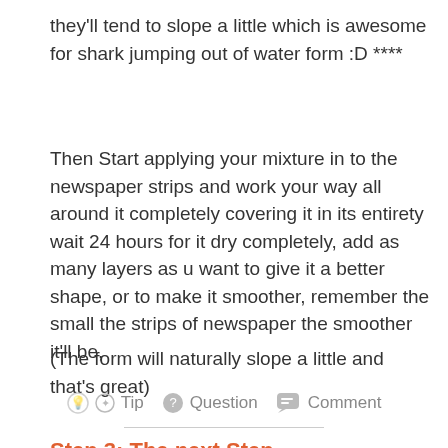they'll tend to slope a little which is awesome for shark jumping out of water form :D ****
Then Start applying your mixture in to the newspaper strips and work your way all around it completely covering it in its entirety wait 24 hours for it dry completely, add as many layers as u want to give it a better shape, or to make it smoother, remember the small the strips of newspaper the smoother it'll be,
(The form will naturally slope a little and that's great)
💡 Tip  ❓ Question  💬 Comment
Step 3: The next Step ...